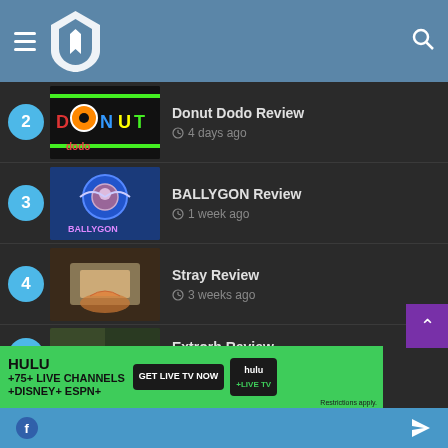Navigation header with menu icon, logo, and search icon
2 — Donut Dodo Review — 4 days ago
3 — BALLYGON Review — 1 week ago
4 — Stray Review — 3 weeks ago
5 — Extrorb Review — 3 weeks ago
[Figure (screenshot): HULU advertisement banner: HULU +75+ LIVE CHANNELS +DISNEY+ ESPN+, GET LIVE TV NOW button, hulu+live tv logo, Restrictions apply.]
Bottom navigation bar with Facebook and share icons